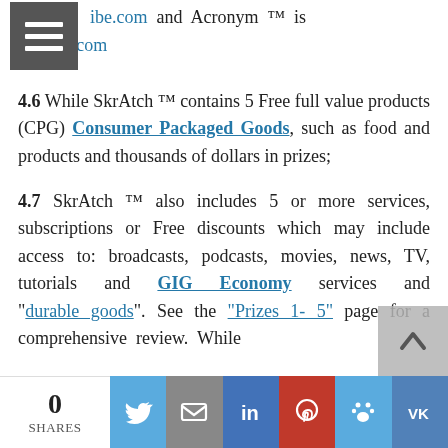ibe.com and Acronym ™ is on eBay.com
4.6 While SkrAtch ™ contains 5 Free full value products (CPG) Consumer Packaged Goods, such as food and products and thousands of dollars in prizes;
4.7 SkrAtch ™ also includes 5 or more services, subscriptions or Free discounts which may include access to: broadcasts, podcasts, movies, news, TV, tutorials and GIG Economy services and "durable goods". See the "Prizes 1- 5" page for a comprehensive review. While
0 SHARES | Twitter | Email | LinkedIn | Pinterest | Paw | VK